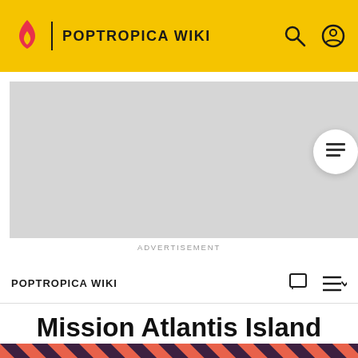POPTROPICA WIKI
[Figure (other): Gray advertisement placeholder rectangle]
ADVERTISEMENT
POPTROPICA WIKI
Mission Atlantis Island
[Figure (illustration): Hero image with coral/salmon diagonal stripe background pattern and a dark-haired male figure in dark clothing]